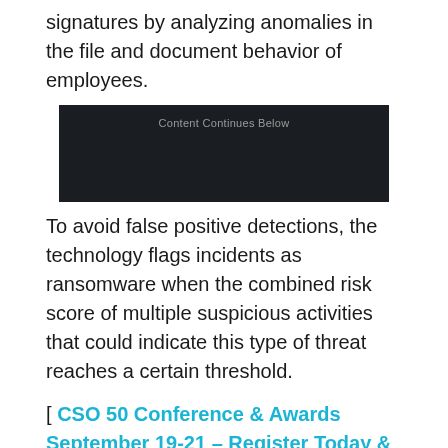signatures by analyzing anomalies in the file and document behavior of employees.
[Figure (other): Dark advertisement placeholder box with text 'Content Continues Below']
To avoid false positive detections, the technology flags incidents as ransomware when the combined risk score of multiple suspicious activities that could indicate this type of threat reaches a certain threshold.
[ CSO 50 Conference & Awards September 19-21 – Register Today & Bring Your Team! ]
Exabeam's security research team is helping